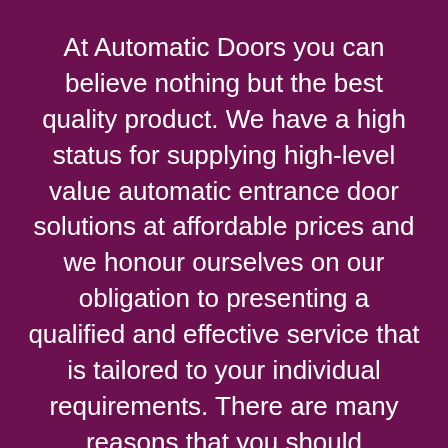At Automatic Doors you can believe nothing but the best quality product. We have a high status for supplying high-level value automatic entrance door solutions at affordable prices and we honour ourselves on our obligation to presenting a qualified and effective service that is tailored to your individual requirements. There are many reasons that you should contemplate installing automatic doors from us in Herne Common.